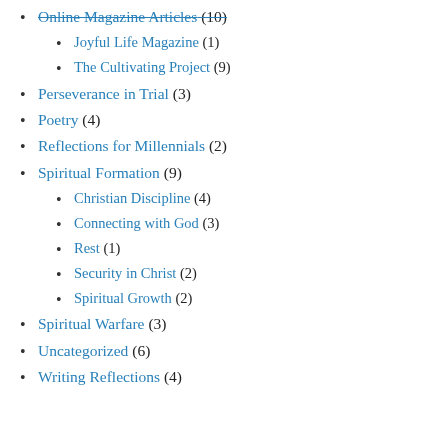Online Magazine Articles (10)
Joyful Life Magazine (1)
The Cultivating Project (9)
Perseverance in Trial (3)
Poetry (4)
Reflections for Millennials (2)
Spiritual Formation (9)
Christian Discipline (4)
Connecting with God (3)
Rest (1)
Security in Christ (2)
Spiritual Growth (2)
Spiritual Warfare (3)
Uncategorized (6)
Writing Reflections (4)